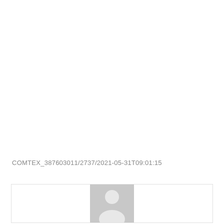COMTEX_387603011/2737/2021-05-31T09:01:15
[Figure (illustration): Generic user profile placeholder image showing a grey silhouette of a person (head and shoulders) on a grey background, inside a bordered card/box.]